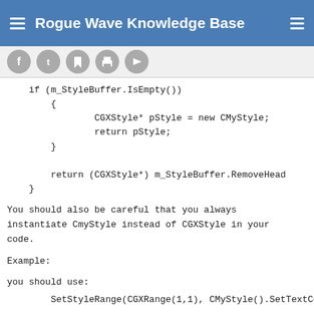Rogue Wave Knowledge Base
[Figure (other): Social sharing icons: Facebook, Twitter, Bookmark, Print, Forward]
if (m_StyleBuffer.IsEmpty())
{
    CGXStyle* pStyle = new CMyStyle;
    return pStyle;
}

return (CGXStyle*) m_StyleBuffer.RemoveHead
You should also be careful that you always instantiate CmyStyle instead of CGXStyle in your code.
Example:
you should use:
SetStyleRange(CGXRange(1,1), CMyStyle().SetTextCo
instead of: